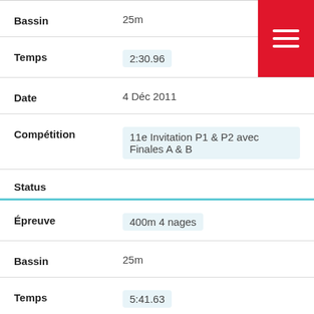Bassin: 25m
Temps: 2:30.96
Date: 4 Déc 2011
Compétition: 11e Invitation P1 & P2 avec Finales A & B
Status
Épreuve: 400m 4 nages
Bassin: 25m
Temps: 5:41.63